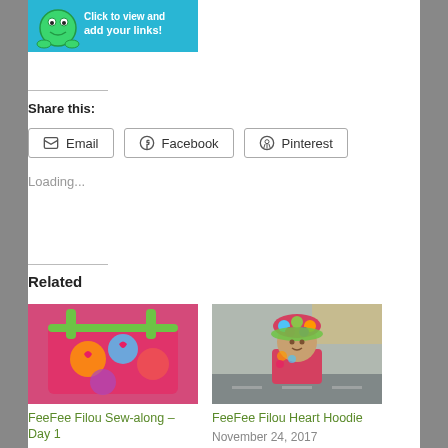[Figure (illustration): A blue banner button with a frog icon saying 'Click to view and add your links!']
Share this:
Email  Facebook  Pinterest
Loading...
Related
[Figure (photo): A colorful floral tote bag in pink, green, orange, blue with heart shapes]
FeeFee Filou Sew-along – Day 1
January 24, 2018
In "children"
[Figure (photo): A toddler wearing a colorful floral hoodie and matching hat outdoors]
FeeFee Filou Heart Hoodie
November 24, 2017
In "children"